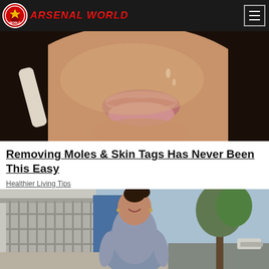ARSENAL WORLD
[Figure (photo): Close-up photo of a woman's face showing lips and chin area with dark hair, holding something white near her cheek]
Removing Moles & Skin Tags Has Never Been This Easy
Healthier Living Tips
[Figure (photo): Photo of a smiling young woman with dark hair in a bun, wearing a grey fitted dress, standing on a street with trees in the background]